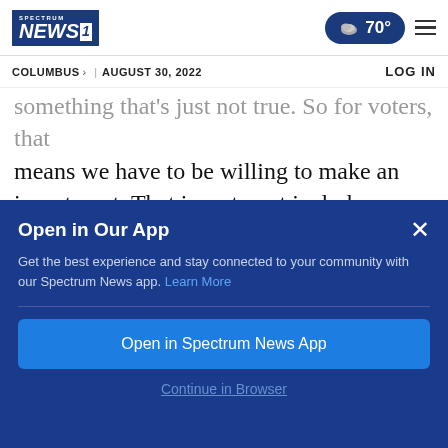Spectrum NEWS1 | 70° | COLUMBUS > | AUGUST 30, 2022 | LOG IN
something that's just not true. So for voters, that means we have to be willing to make an investment. That investment includes taking the time to learn how to fact check using social media games and apps like bad news.
Open in Our App
Get the best experience and stay connected to your community with our Spectrum News app. Learn More
Open in Spectrum News App
Continue in Browser